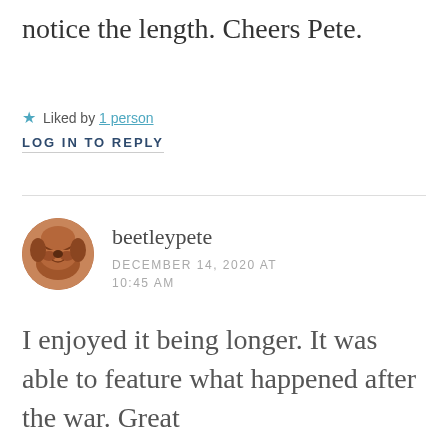notice the length. Cheers Pete.
★ Liked by 1 person
LOG IN TO REPLY
beetleypete
DECEMBER 14, 2020 AT 10:45 AM
[Figure (photo): Avatar image of a brown dog/puppy with a wrinkled face, used as a commenter profile picture]
I enjoyed it being longer. It was able to feature what happened after the war. Great